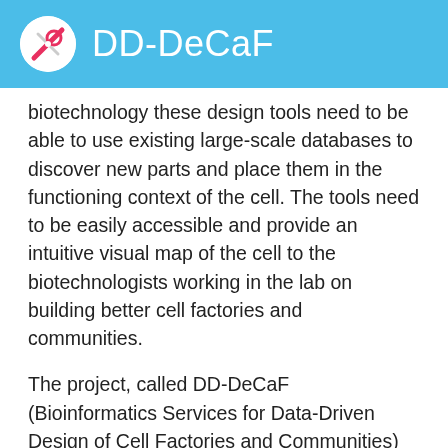DD-DeCaF
biotechnology these design tools need to be able to use existing large-scale databases to discover new parts and place them in the functioning context of the cell. The tools need to be easily accessible and provide an intuitive visual map of the cell to the biotechnologists working in the lab on building better cell factories and communities.
The project, called DD-DeCaF (Bioinformatics Services for Data-Driven Design of Cell Factories and Communities) brings together leading academic partners from five European universities with five innovative European companies to address the challenge of building a comprehensive design tool. The academic partners will develop cutting